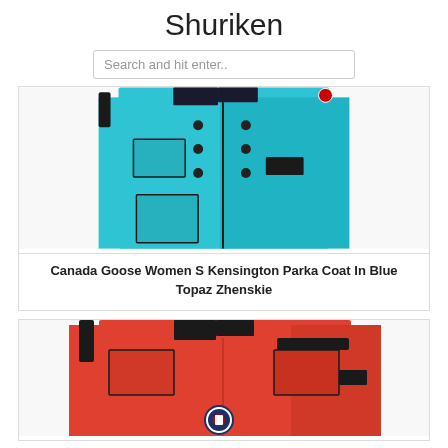Shuriken
Search and hit enter..
[Figure (photo): Canada Goose women's parka coat in blue topaz (turquoise), showing front with black buttons and straps]
Canada Goose Women S Kensington Parka Coat In Blue Topaz Zhenskie
[Figure (photo): Canada Goose parka coat in red/orange color, showing front with chest pockets and logo patch]